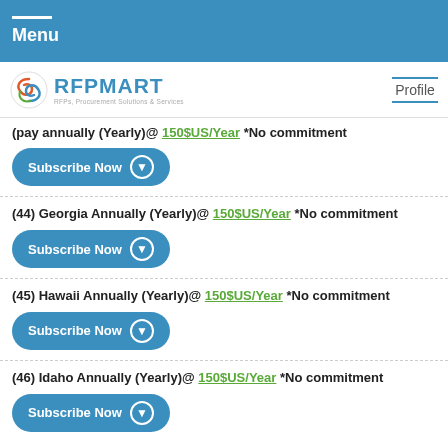Menu
[Figure (logo): RFPMART logo with tagline: RFPs, Procurement Solutions & Services]
(pay annually (Yearly)@ [link] *No commitment
Subscribe Now
(44) Georgia Annually (Yearly)@ 150$US/Year *No commitment
Subscribe Now
(45) Hawaii Annually (Yearly)@ 150$US/Year *No commitment
Subscribe Now
(46) Idaho Annually (Yearly)@ 150$US/Year *No commitment
Subscribe Now